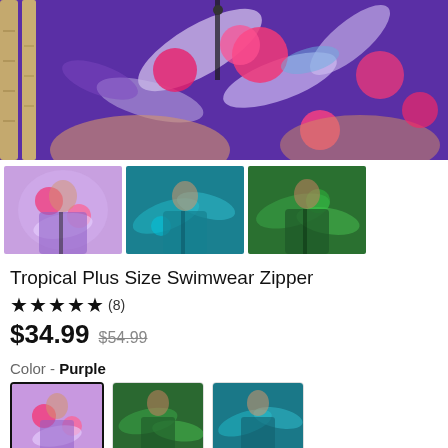[Figure (photo): Main product hero image: close-up of a purple tropical print long-sleeve swimsuit with zipper, showing torso/arms against bamboo background]
[Figure (photo): Three thumbnail images of the swimsuit: purple/pink floral, teal tropical, green tropical prints]
Tropical Plus Size Swimwear Zipper
★★★★★ (8)
$34.99  $54.99
Color - Purple
[Figure (photo): Three color swatches: purple/pink floral (selected, with border), green tropical, teal tropical]